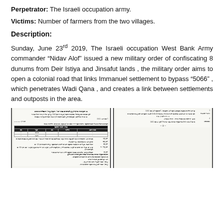Perpetrator: The Israeli occupation army.
Victims: Number of farmers from the two villages.
Description:
Sunday, June 23rd 2019, The Israeli occupation West Bank Army commander “Nidav Alof” issued a new military order of confiscating 8 dunums from Deir Istiya and Jinsafut lands , the military order aims to open a colonial road that links Immanuel settlement to bypass “5066” , which penetrates Wadi Qana , and creates a link between settlements and outposts in the area.
[Figure (other): Scanned document image in Hebrew - military order document, shown twice (two pages), with text columns, a table with dark header row, and numbered sections. Appears to be the Israeli military confiscation order referenced in the description.]